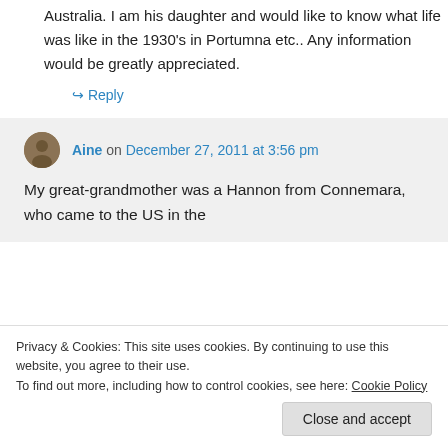Australia. I am his daughter and would like to know what life was like in the 1930's in Portumna etc.. Any information would be greatly appreciated.
↳ Reply
Aine on December 27, 2011 at 3:56 pm
My great-grandmother was a Hannon from Connemara, who came to the US in the
Privacy & Cookies: This site uses cookies. By continuing to use this website, you agree to their use.
To find out more, including how to control cookies, see here: Cookie Policy
Close and accept